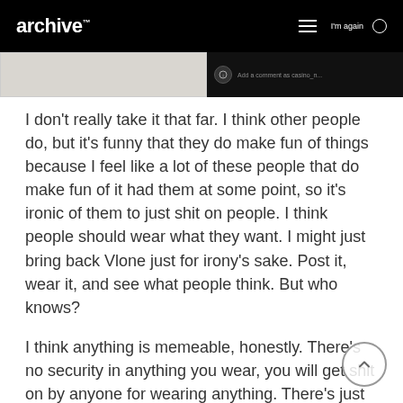archive™
[Figure (screenshot): Screenshot of an archive app/website interface showing a comment input field with emoji reactions and a hamburger menu]
I don't really take it that far. I think other people do, but it's funny that they do make fun of things because I feel like a lot of these people that do make fun of it had them at some point, so it's ironic of them to just shit on people. I think people should wear what they want. I might just bring back Vlone just for irony's sake. Post it, wear it, and see what people think. But who knows?
I think anything is memeable, honestly. There's no security in anything you wear, you will get shit on by anyone for wearing anything. There's just things that are shat on. And, I think, the internet being the internet, people tend to gang up on certain things.